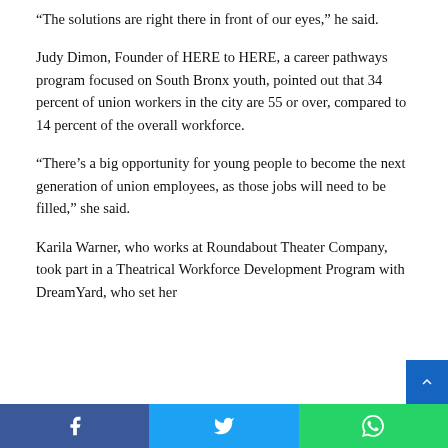“The solutions are right there in front of our eyes,” he said.
Judy Dimon, Founder of HERE to HERE, a career pathways program focused on South Bronx youth, pointed out that 34 percent of union workers in the city are 55 or over, compared to 14 percent of the overall workforce.
“There’s a big opportunity for young people to become the next generation of union employees, as those jobs will need to be filled,” she said.
Karila Warner, who works at Roundabout Theater Company, took part in a Theatrical Workforce Development Program with DreamYard, who set her
[Facebook] [Twitter] [WhatsApp]